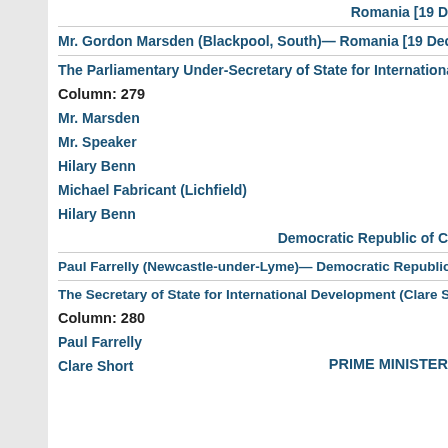Romania [19 D
Mr. Gordon Marsden (Blackpool, South)— Romania [19 Dec 2001]
The Parliamentary Under-Secretary of State for International Deve
Column: 279
Mr. Marsden
Mr. Speaker
Hilary Benn
Michael Fabricant (Lichfield)
Hilary Benn
Democratic Republic of C
Paul Farrelly (Newcastle-under-Lyme)— Democratic Republic of C
The Secretary of State for International Development (Clare Short
Column: 280
Paul Farrelly
Clare Short
PRIME MINISTER